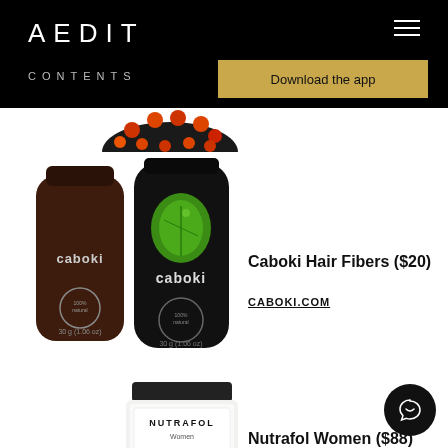AEDIT
CONTENTS
Download the app
[Figure (photo): Partial view of a red light therapy device at top of page]
[Figure (photo): Two Caboki Hair Fibers product bottles — one brown/dark and one black with green leaf logo]
Caboki Hair Fibers ($20)
CABOKI.COM
[Figure (photo): Partial view of Nutrafol Women supplement jar]
Nutrafol Women ($88)